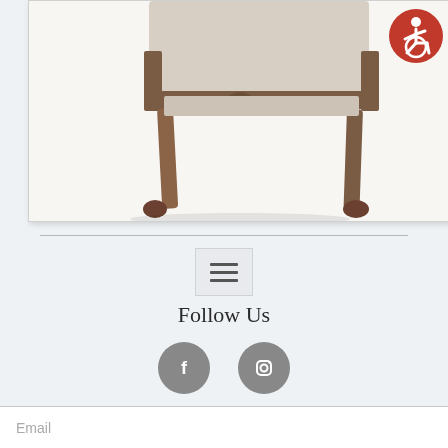[Figure (photo): Partial view of an antique wooden armchair with upholstered seat and carved legs ending in claw feet, with a red circular accessibility icon in the upper right corner]
[Figure (infographic): Footer section with hamburger menu icon, 'Follow Us' heading, Facebook and Instagram circular social media icons, 'Get the latest news' text, and an email input field]